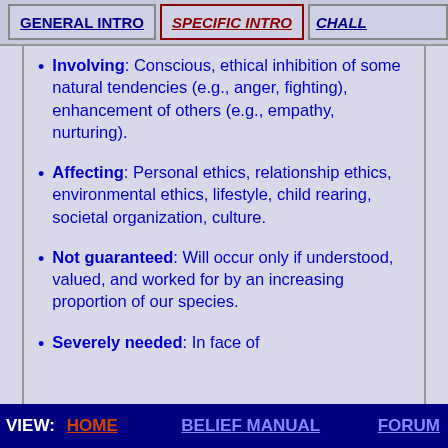GENERAL INTRO | SPECIFIC INTRO | CHALL
Involving: Conscious, ethical inhibition of some natural tendencies (e.g., anger, fighting), enhancement of others (e.g., empathy, nurturing).
Affecting: Personal ethics, relationship ethics, environmental ethics, lifestyle, child rearing, societal organization, culture.
Not guaranteed: Will occur only if understood, valued, and worked for by an increasing proportion of our species.
Severely needed: In face of
VIEW: HOME  BELIEF MANUAL  FORUM